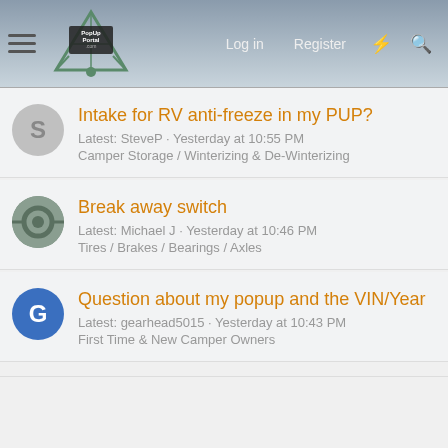PopUpPortal.com | Log in | Register
Intake for RV anti-freeze in my PUP? | Latest: SteveP · Yesterday at 10:55 PM | Camper Storage / Winterizing & De-Winterizing
Break away switch | Latest: Michael J · Yesterday at 10:46 PM | Tires / Brakes / Bearings / Axles
Question about my popup and the VIN/Year | Latest: gearhead5015 · Yesterday at 10:43 PM | First Time & New Camper Owners